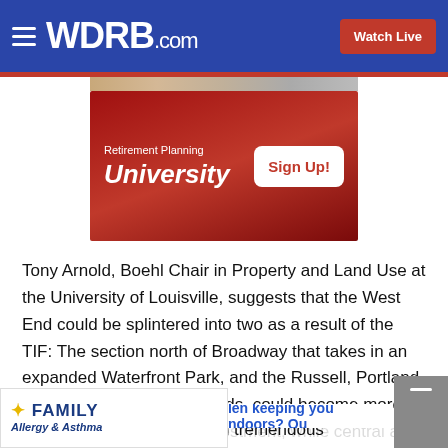WDRB.com — Watch Live
[Figure (screenshot): Advertisement banner for Retirement Planning University with 'Sign Up!' button on red background]
Tony Arnold, Boehl Chair in Property and Land Use at the University of Louisville, suggests that the West End could be splintered into two as a result of the TIF: The section north of Broadway that takes in an expanded Waterfront Park, and the Russell, Portland, and Shawnee neighborhoods, could become more gentrified as a result of investment, while central and southern areas near Rubbertown and other industr
[Figure (screenshot): Family Allergy & Asthma advertisement overlay at bottom]
llen keeping you indoors? Ou
"We can't really predict with tremendous accuracy, because